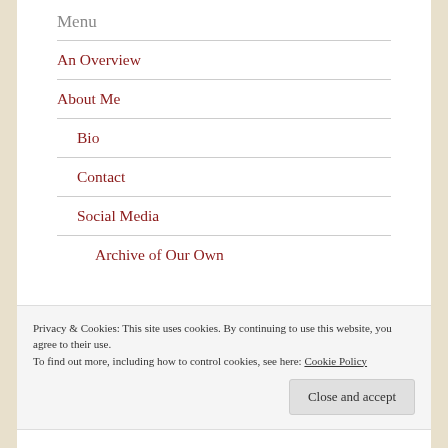Menu
An Overview
About Me
Bio
Contact
Social Media
Archive of Our Own
Privacy & Cookies: This site uses cookies. By continuing to use this website, you agree to their use.
To find out more, including how to control cookies, see here: Cookie Policy
Close and accept